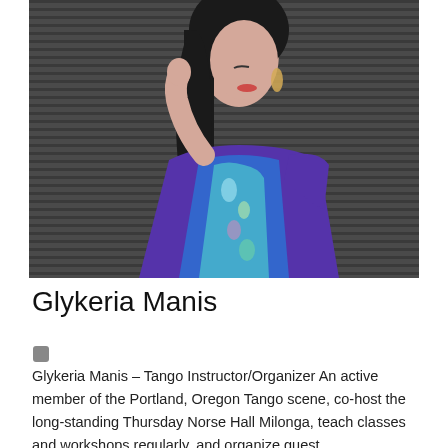[Figure (photo): Portrait photo of Glykeria Manis, a woman with long dark hair wearing a colorful blue/purple patterned dress, posed against a dark brick/metal shutter background, looking downward to the side.]
Glykeria Manis
[Figure (other): Small dark gray/black map pin or location icon]
Glykeria Manis – Tango Instructor/Organizer An active member of the Portland, Oregon Tango scene, co-host the long-standing Thursday Norse Hall Milonga, teach classes and workshops regularly, and organize guest